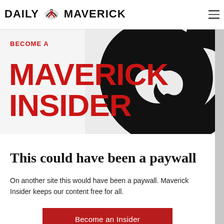DAILY MAVERICK
[Figure (logo): Daily Maverick logo with eagle/bird emblem between DAILY and MAVERICK text]
[Figure (illustration): Large black swirl/spiral graphic on light grey background used as decorative banner element]
BECOME A MAVERICK INSIDER
This could have been a paywall
On another site this would have been a paywall. Maverick Insider keeps our content free for all.
Become an Insider